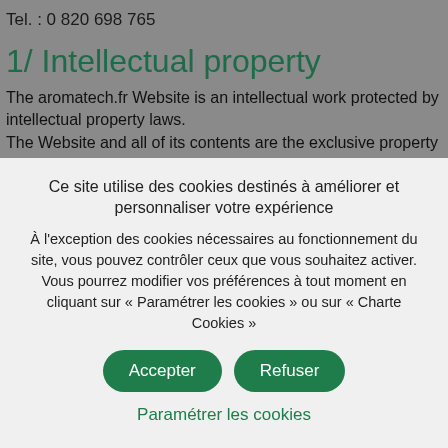Tel. : 0 820 698 765
1/ Intellectual property
The aromatech.fr Website is an intellectual work protected by intellectual property laws.
The Website and all of its contents are the exclusive property of Aromatech.
Any reproduction or representation of the Website in whole or in part is strictly prohibited.

All logos, brands, images, texts… provided on Aromatech Website are also protected by intellectual property laws and are the
Ce site utilise des cookies destinés à améliorer et personnaliser votre expérience
À l'exception des cookies nécessaires au fonctionnement du site, vous pouvez contrôler ceux que vous souhaitez activer.
Vous pourrez modifier vos préférences à tout moment en cliquant sur « Paramétrer les cookies » ou sur « Charte Cookies »
Accepter
Refuser
Paramétrer les cookies